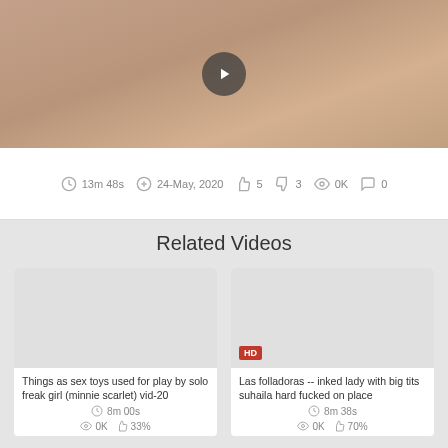[Figure (photo): Video thumbnail showing adult content with a play button overlay]
13m 48s   24-May, 2020   5   3   0K   0
Related Videos
[Figure (photo): Thumbnail for: Things as sex toys used for play by solo freak girl (minnie scarlet) vid-20]
Things as sex toys used for play by solo freak girl (minnie scarlet) vid-20
8m 00s
[Figure (photo): Thumbnail for: Las folladoras -- inked lady with big tits suhaila hard fucked on place, labeled HD]
Las folladoras -- inked lady with big tits suhaila hard fucked on place
8m 38s